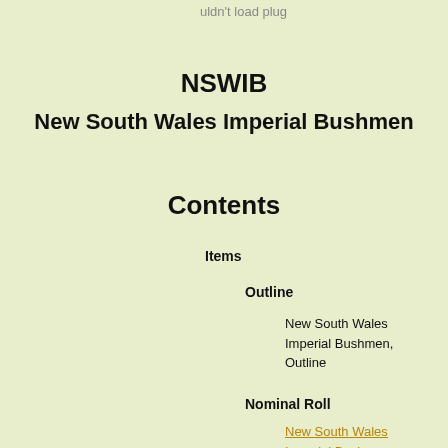uldn't load plug
NSWIB
New South Wales Imperial Bushmen
Contents
Items
Outline
New South Wales Imperial Bushmen, Outline
Nominal Roll
New South Wales Imperial Bushmen, Nominal Roll